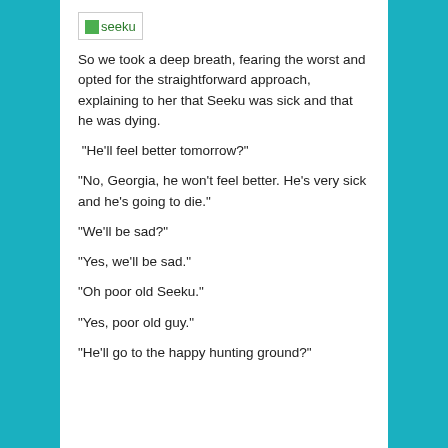[Figure (logo): Seeku logo with green image icon and text 'seeku' inside a bordered box]
So we took a deep breath, fearing the worst and opted for the straightforward approach, explaining to her that Seeku was sick and that he was dying.
“He’ll feel better tomorrow?”
“No, Georgia, he won’t feel better. He’s very sick and he’s going to die.”
“We’ll be sad?”
“Yes, we’ll be sad.”
“Oh poor old Seeku.”
“Yes, poor old guy.”
“He’ll go to the happy hunting ground?”